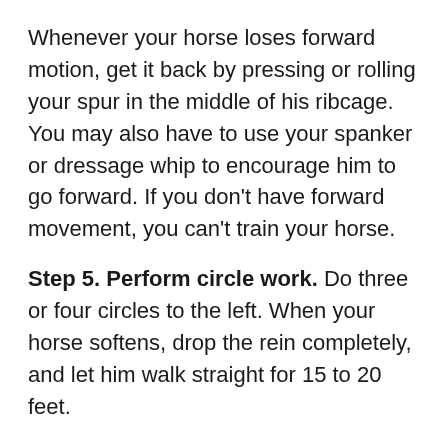Whenever your horse loses forward motion, get it back by pressing or rolling your spur in the middle of his ribcage. You may also have to use your spanker or dressage whip to encourage him to go forward. If you don't have forward movement, you can't train your horse.
Step 5. Perform circle work. Do three or four circles to the left. When your horse softens, drop the rein completely, and let him walk straight for 15 to 20 feet.
Step 6. Bend to the right. Switch sides, and repeat Steps 1-5 to the right. If you continue to drill on the same side, your horse's head and neck will get tired, and he'll start to pull against